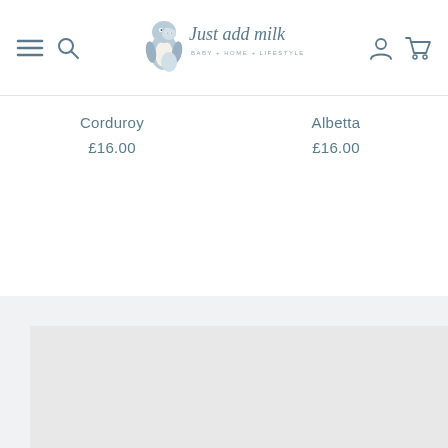[Figure (logo): Just add milk baby home lifestyle logo with penguin illustration]
Corduroy
£16.00
Albetta
£16.00